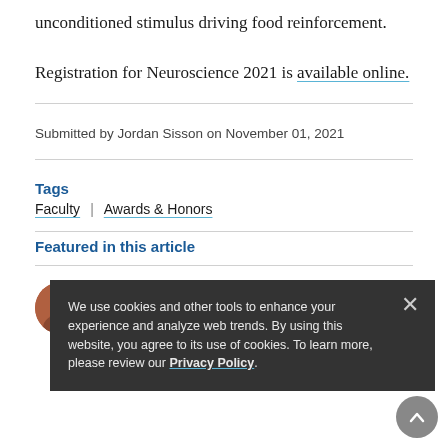unconditioned stimulus driving food reinforcement.
Registration for Neuroscience 2021 is available online.
Submitted by Jordan Sisson on November 01, 2021
Tags
Faculty  |  Awards & Honors
Featured in this article
Dana Small, PhD
Professor of Psychiatry and Professor of
We use cookies and other tools to enhance your experience and analyze web trends. By using this website, you agree to its use of cookies. To learn more, please review our Privacy Policy.